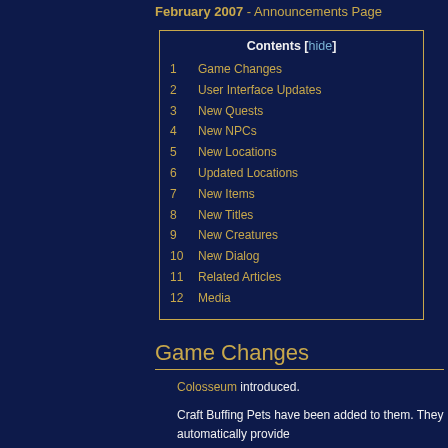February 2007 - Announcements Page
| Contents [hide] |
| --- |
| 1  Game Changes |
| 2  User Interface Updates |
| 3  New Quests |
| 4  New NPCs |
| 5  New Locations |
| 6  Updated Locations |
| 7  New Items |
| 8  New Titles |
| 9  New Creatures |
| 10  New Dialog |
| 11  Related Articles |
| 12  Media |
Game Changes
Colosseum introduced.
Craft Buffing Pets have been added to them. They automatically provide